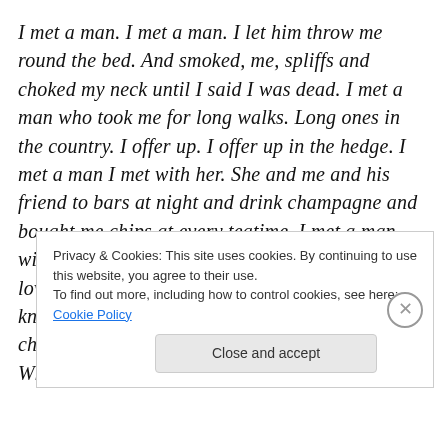I met a man. I met a man. I let him throw me round the bed. And smoked, me, spliffs and choked my neck until I said I was dead. I met a man who took me for long walks. Long ones in the country. I offer up. I offer up in the hedge. I met a man I met with her. She and me and his friend to bars at night and drink champagne and bought me chips at every teatime. I met a man with condoms in his pockets. Don't use them. He loves children in his heart. No. I met a man who knew me once. Who saw me round when I was a child. Who said you're a fine looking woman now. Who
Privacy & Cookies: This site uses cookies. By continuing to use this website, you agree to their use.
To find out more, including how to control cookies, see here: Cookie Policy
Close and accept